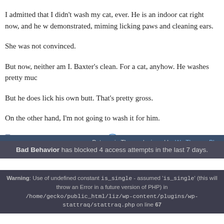I admitted that I didn't wash my cat, ever. He is an indoor cat right now, and he w… demonstrated, miming licking paws and cleaning ears.
She was not convinced.
But now, neither am I. Baxter's clean. For a cat, anyhow. He washes pretty muc…
But he does lick his own butt. That's pretty gross.
On the other hand, I'm not going to wash it for him.
Some Stuff | Liz June 14, 2006 | Comments (2)
« Older
Patagonia Theme designed by Wp Themes Plan
Bad Behavior has blocked 4 access attempts in the last 7 days.
Warning: Use of undefined constant is_single - assumed 'is_single' (this will throw an Error in a future version of PHP) in /home/gecko/public_html/liz/wp-content/plugins/wp-stattraq/stattraq.php on line 67